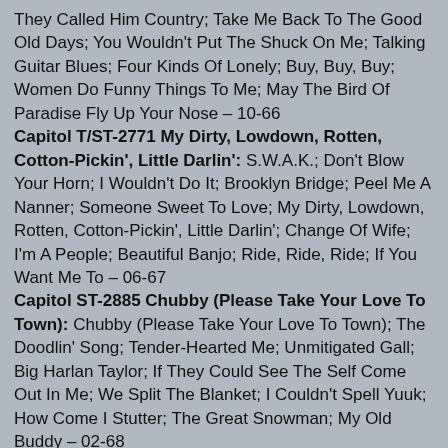They Called Him Country; Take Me Back To The Good Old Days; You Wouldn't Put The Shuck On Me; Talking Guitar Blues; Four Kinds Of Lonely; Buy, Buy, Buy; Women Do Funny Things To Me; May The Bird Of Paradise Fly Up Your Nose – 10-66
Capitol T/ST-2771 My Dirty, Lowdown, Rotten, Cotton-Pickin', Little Darlin': S.W.A.K.; Don't Blow Your Horn; I Wouldn't Do It; Brooklyn Bridge; Peel Me A Nanner; Someone Sweet To Love; My Dirty, Lowdown, Rotten, Cotton-Pickin', Little Darlin'; Change Of Wife; I'm A People; Beautiful Banjo; Ride, Ride, Ride; If You Want Me To – 06-67
Capitol ST-2885 Chubby (Please Take Your Love To Town): Chubby (Please Take Your Love To Town); The Doodlin' Song; Tender-Hearted Me; Unmitigated Gall; Big Harlan Taylor; If They Could See The Self Come Out In Me; We Split The Blanket; I Couldn't Spell Yuuk; How Come I Stutter; The Great Snowman; My Old Buddy – 02-68
Capitol ST-130 The Geezinslaws Are Alive (And Well?): Introduction By Jimmy Dean; Sally Was A Good Old Girl; Ballad Of Joe Bean; The Bicycle Wreck; On The Street Where You Live; I Couldn't Spell Yuuk; Finale – 01-69
Lone Star L-4606 If You Think I'm Crazy Now: If You Think